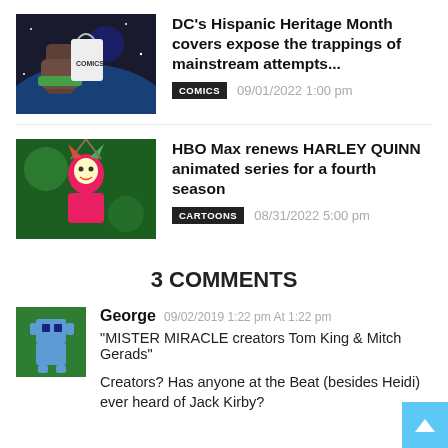[Figure (photo): Thumbnail image for DC Hispanic Heritage Month article showing a fist with a green wristband holding a grocery bag against a space backdrop]
DC's Hispanic Heritage Month covers expose the trappings of mainstream attempts...
COMICS   09/01/2022 1:00 pm
[Figure (photo): Thumbnail image for Harley Quinn animated series article showing Harley Quinn character in colorful animated style]
HBO Max renews HARLEY QUINN animated series for a fourth season
CARTOONS   08/31/2022 5:00 pm
3 COMMENTS
[Figure (illustration): Green avatar icon with a pixel-art style robot/character in teal/green colors]
George 09/02/2019 1:22 pm At 1:22 pm
“MISTER MIRACLE creators Tom King & Mitch Gerads”
Creators? Has anyone at the Beat (besides Heidi) ever heard of Jack Kirby?